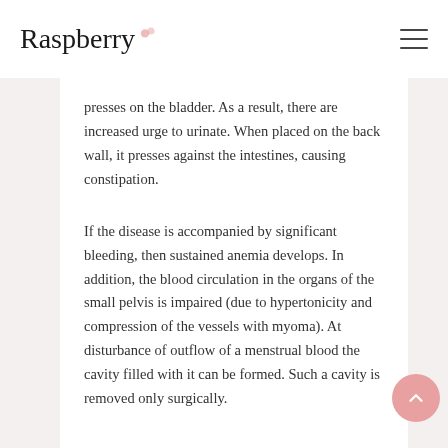Raspberry
presses on the bladder. As a result, there are increased urge to urinate. When placed on the back wall, it presses against the intestines, causing constipation.
If the disease is accompanied by significant bleeding, then sustained anemia develops. In addition, the blood circulation in the organs of the small pelvis is impaired (due to hypertonicity and compression of the vessels with myoma). At disturbance of outflow of a menstrual blood the cavity filled with it can be formed. Such a cavity is removed only surgically.